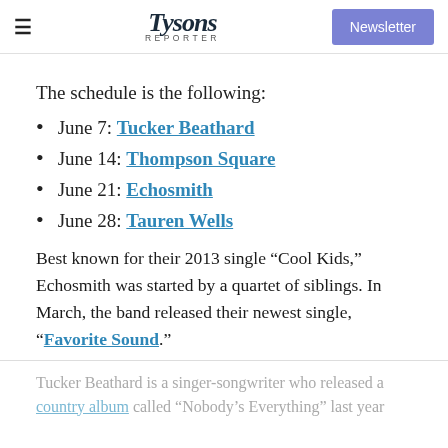≡  Tysons Reporter  Newsletter
The schedule is the following:
June 7: Tucker Beathard
June 14: Thompson Square
June 21: Echosmith
June 28: Tauren Wells
Best known for their 2013 single “Cool Kids,” Echosmith was started by a quartet of siblings. In March, the band released their newest single, “Favorite Sound.”
Tucker Beathard is a singer-songwriter who released a country album called “Nobody’s Everything” last year